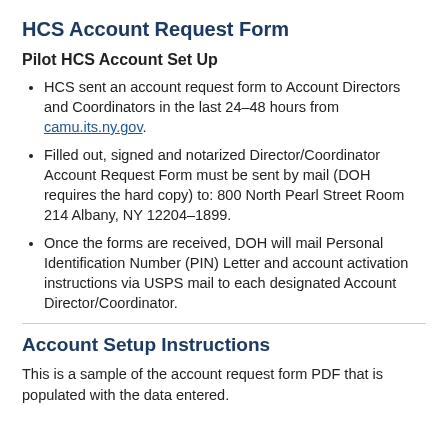HCS Account Request Form
Pilot HCS Account Set Up
HCS sent an account request form to Account Directors and Coordinators in the last 24–48 hours from camu.its.ny.gov.
Filled out, signed and notarized Director/Coordinator Account Request Form must be sent by mail (DOH requires the hard copy) to: 800 North Pearl Street Room 214 Albany, NY 12204–1899.
Once the forms are received, DOH will mail Personal Identification Number (PIN) Letter and account activation instructions via USPS mail to each designated Account Director/Coordinator.
Account Setup Instructions
This is a sample of the account request form PDF that is populated with the data entered.